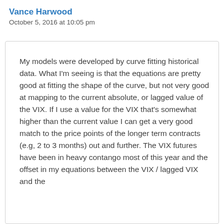Vance Harwood
October 5, 2016 at 10:05 pm
My models were developed by curve fitting historical data. What I'm seeing is that the equations are pretty good at fitting the shape of the curve, but not very good at mapping to the current absolute, or lagged value of the VIX. If I use a value for the VIX that's somewhat higher than the current value I can get a very good match to the price points of the longer term contracts (e.g, 2 to 3 months) out and further. The VIX futures have been in heavy contango most of this year and the offset in my equations between the VIX / lagged VIX and the